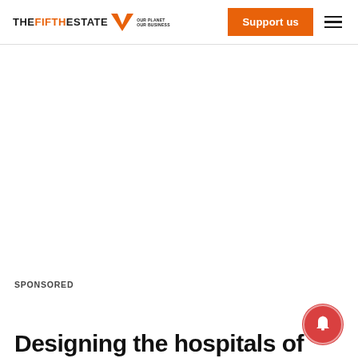THE FIFTH ESTATE — OUR PLANET OUR BUSINESS | Support us
SPONSORED
Designing the hospitals of